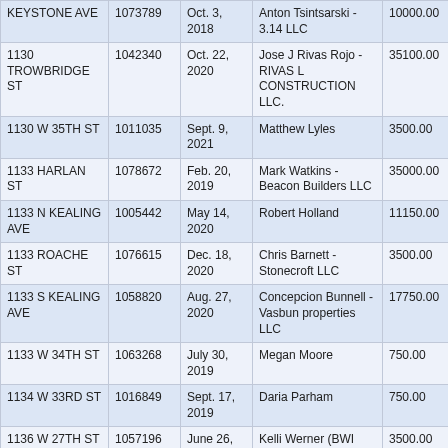| KEYSTONE AVE | 1073789 | Oct. 3, 2018 | Anton Tsintsarski - 3.14 LLC | 10000.00 |
| 1130 TROWBRIDGE ST | 1042340 | Oct. 22, 2020 | Jose J Rivas Rojo - RIVAS L CONSTRUCTION LLC. | 35100.00 |
| 1130 W 35TH ST | 1011035 | Sept. 9, 2021 | Matthew Lyles | 3500.00 |
| 1133 HARLAN ST | 1078672 | Feb. 20, 2019 | Mark Watkins - Beacon Builders LLC | 35000.00 |
| 1133 N KEALING AVE | 1005442 | May 14, 2020 | Robert Holland | 11150.00 |
| 1133 ROACHE ST | 1076615 | Dec. 18, 2020 | Chris Barnett - Stonecroft LLC | 3500.00 |
| 1133 S KEALING AVE | 1058820 | Aug. 27, 2020 | Concepcion Bunnell - Vasbun properties LLC | 17750.00 |
| 1133 W 34TH ST | 1063268 | July 30, 2019 | Megan Moore | 750.00 |
| 1134 W 33RD ST | 1016849 | Sept. 17, 2019 | Daria Parham | 750.00 |
| 1136 W 27TH ST | 1057196 | June 26, 2020 | Kelli Werner (BWI Holdings, LLC) | 3500.00 |
| 1136 W 27TH ST | 1057197 | June 26, 2020 | Kelli Werner (BWI Holdings, LLC) | 3500.00 |
| 1137 W 27TH ST | 1077219 | June 26, 2020 | Kelli Werner - BWI Holdings, LLC | 3500.00 |